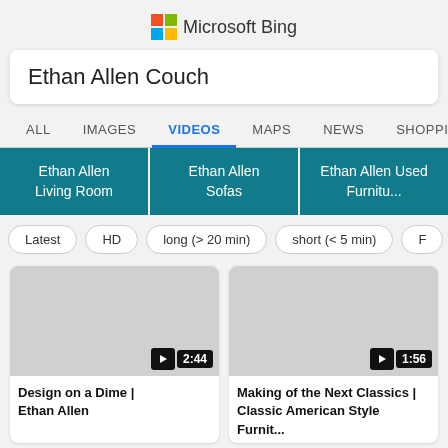[Figure (logo): Microsoft Bing logo with colorful Windows-style grid icon and text 'Microsoft Bing']
Ethan Allen Couch
ALL   IMAGES   VIDEOS   MAPS   NEWS   SHOPPING
Ethan Allen Living Room | Ethan Allen Sofas | Ethan Allen Used Furnitu...
Latest   HD   long (> 20 min)   short (< 5 min)   F
[Figure (screenshot): Video thumbnail placeholder (gray) with play button and duration 2:44]
Design on a Dime | Ethan Allen
[Figure (screenshot): Video thumbnail placeholder (gray) with play button and duration 1:56]
Making of the Next Classics | Classic American Style Furnit...